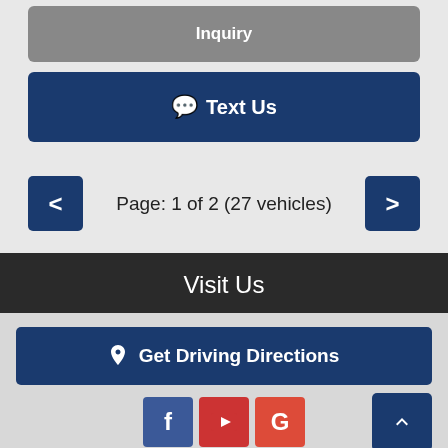Inquiry
💬 Text Us
Page: 1 of 2 (27 vehicles)
Visit Us
📍 Get Driving Directions
💬 Text Us
Dealer Car Search Login | Copyright 2022 | Sitemap